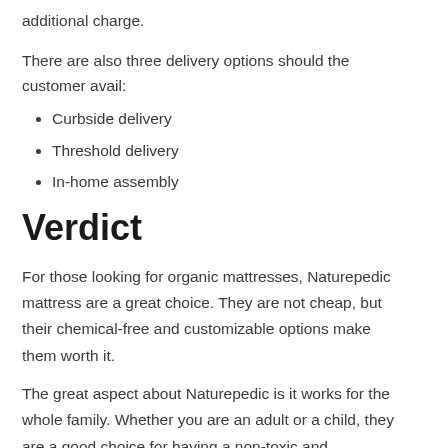additional charge.
There are also three delivery options should the customer avail:
Curbside delivery
Threshold delivery
In-home assembly
Verdict
For those looking for organic mattresses, Naturepedic mattress are a great choice. They are not cheap, but their chemical-free and customizable options make them worth it.
The great aspect about Naturepedic is it works for the whole family. Whether you are an adult or a child, they are a good choice for having a non-toxic and environmentally friendly mattress. As the company aims, they give great comfort to all.